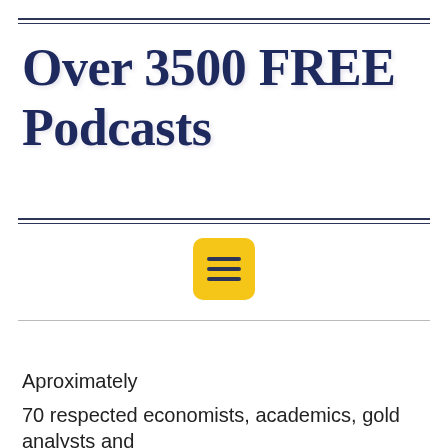Over 3500 FREE Podcasts
[Figure (illustration): Yellow rounded square button with three horizontal dark navy lines representing a hamburger/menu icon]
Aproximately
70 respected economists, academics, gold analysts and